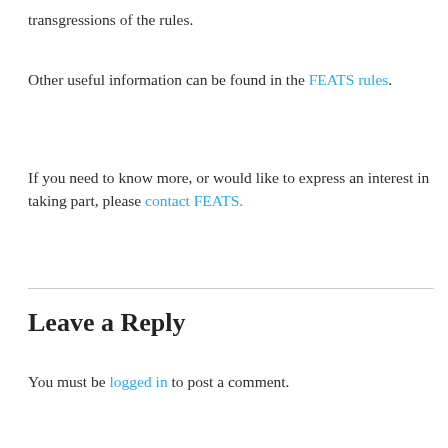transgressions of the rules.
Other useful information can be found in the FEATS rules.
If you need to know more, or would like to express an interest in taking part, please contact FEATS.
Leave a Reply
You must be logged in to post a comment.